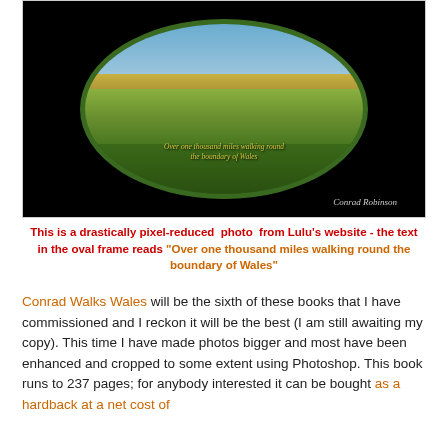[Figure (photo): Book cover photo showing coastal Welsh landscape in an oval frame on a dark/black background. The oval contains a landscape image with sky, sea, and green hills. Text in the oval reads 'Over one thousand miles walking round the boundary of Wales'. Author credit 'Conrad Robinson' appears at the bottom right.]
This is a drastically pixel-reduced photo from Lulu's website - the text in the oval frame reads "Over one thousand miles walking round the boundary of Wales"
Conrad Walks Wales will be the sixth of these books that I have commissioned and I reckon it will be the best (I am still awaiting my copy). This time I have made photos bigger and most have been enhanced and cropped to some extent using Photoshop. This book runs to 237 pages; for anybody interested it can be bought as a hardback at a net cost of